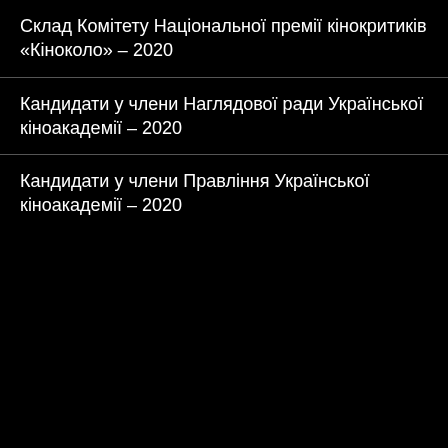Склад Комітету Національної премії кінокритиків «Кіноколо» – 2020
Кандидати у члени Наглядової ради Української кіноакадемії – 2020
Кандидати у члени Правління Української кіноакадемії – 2020